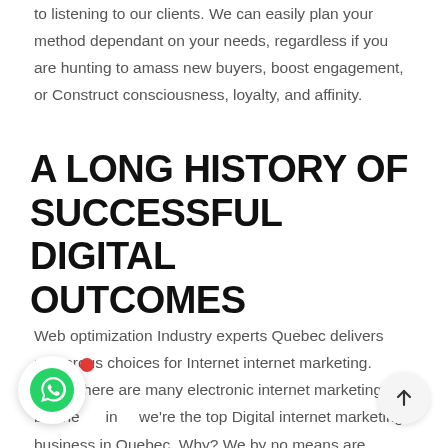to listening to our clients. We can easily plan your method dependant on your needs, regardless if you are hunting to amass new buyers, boost engagement, or Construct consciousness, loyalty, and affinity.
A LONG HISTORY OF SUCCESSFUL DIGITAL OUTCOMES
Web optimization Industry experts Quebec delivers numerous choices for Internet internet marketing. When there are many electronic internet marketing businesses in we're the top Digital internet marketing business in Quebec. Why? We by no means are unsuccessful to provide